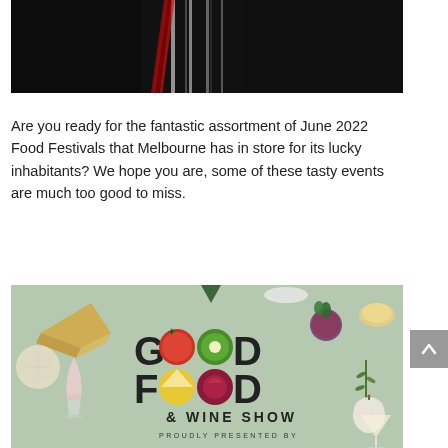[Figure (photo): Close-up photo of red wine being poured into a wine glass against a dark background, showing the stream of red wine and the glass in sharp detail.]
Are you ready for the fantastic assortment of June 2022 Food Festivals that Melbourne has in store for its lucky inhabitants? We hope you are, some of these tasty events are much too good to miss.
[Figure (illustration): Good Food & Wine Show promotional graphic on a sage/grey-green background with illustrated food items (cheese, tomato, kiwi, fig, wine glass, garlic, herbs) arranged around styled text reading 'GOOD FOOD & WINE SHOW PROUDLY PRESENTED BY']